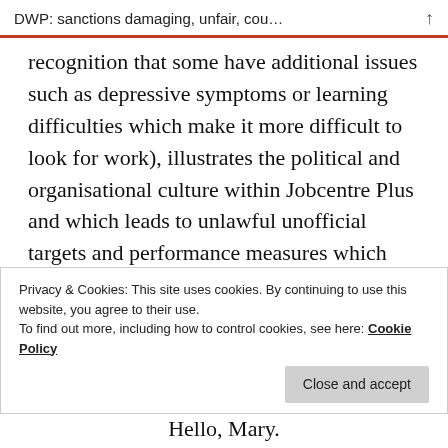DWP: sanctions damaging, unfair, cou…
recognition that some have additional issues such as depressive symptoms or learning difficulties which make it more difficult to look for work), illustrates the political and organisational culture within Jobcentre Plus and which leads to unlawful unofficial targets and performance measures which cause real harm.
Loading
Privacy & Cookies: This site uses cookies. By continuing to use this website, you agree to their use.
To find out more, including how to control cookies, see here: Cookie Policy
Close and accept
Hello, Mary.